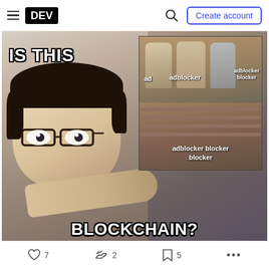DEV  Create account
[Figure (illustration): Meme image: 'Is This a Pigeon?' anime meme with text 'IS THIS' at top left and 'BLOCKCHAIN?' at bottom center. An anime character pointing at something. Inset photo shows people labeled 'ad', 'adblocker', 'adblocker blocker', and 'adblocker blocker blocker'.]
7  2  5  ...